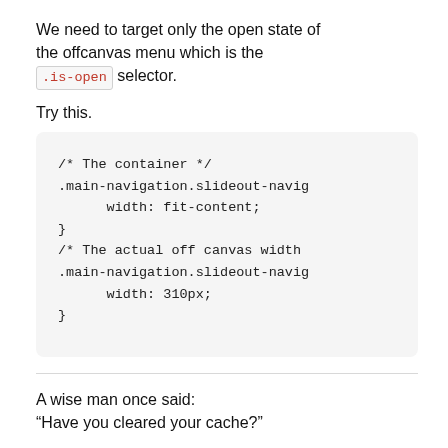We need to target only the open state of the offcanvas menu which is the .is-open selector.
Try this.
[Figure (screenshot): Code block showing CSS: /* The container */ .main-navigation.slideout-navig { width: fit-content; } /* The actual off canvas width */ .main-navigation.slideout-navig { width: 310px; }]
A wise man once said:
“Have you cleared your cache?”